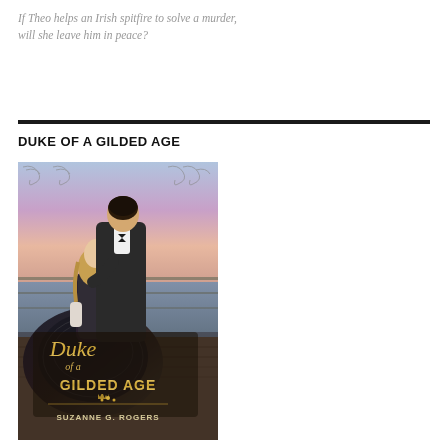If Theo helps an Irish spitfire to solve a murder, will she leave him in peace?
DUKE OF A GILDED AGE
[Figure (illustration): Book cover for 'Duke of a Gilded Age' by Suzanne G. Rogers. Shows a man in a dark suit and a woman in a black Victorian gown standing on a dock with water and a purple-pink sunset sky behind them. The title 'Duke of a Gilded Age' is overlaid in gold script and serif text, with a crown motif and the author name 'Suzanne G. Rogers' at the bottom.]